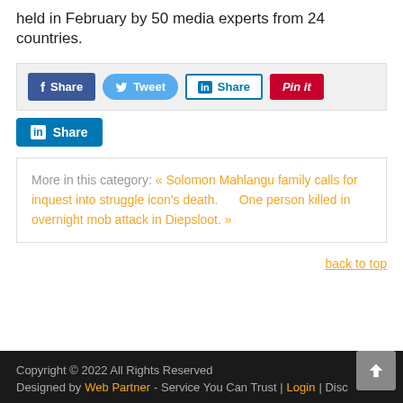held in February by 50 media experts from 24 countries.
[Figure (other): Social share buttons bar: Facebook Share, Tweet, LinkedIn Share, Pinterest Pin it]
[Figure (other): LinkedIn Share button (standalone)]
More in this category:   « Solomon Mahlangu family calls for inquest into struggle icon's death.      One person killed in overnight mob attack in Diepsloot. »
back to top
Copyright © 2022 All Rights Reserved
Designed by Web Partner - Service You Can Trust | Login | Disc...